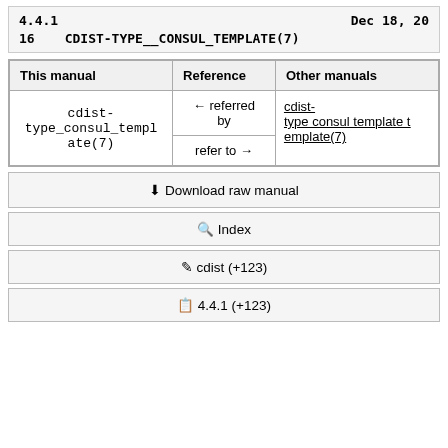4.4.1   Dec 18, 20
16   CDIST-TYPE__CONSUL_TEMPLATE(7)
| This manual | Reference | Other manuals |
| --- | --- | --- |
| cdist-type_consul_template(7) | ← referred by | cdist-type consul template template(7) |
|  | refer to → |  |
⬇ Download raw manual
🔍 Index
✏ cdist (+123)
📋 4.4.1 (+123)